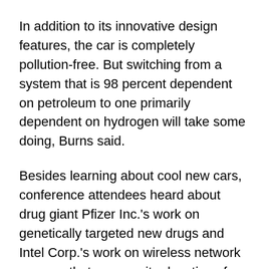In addition to its innovative design features, the car is completely pollution-free. But switching from a system that is 98 percent dependent on petroleum to one primarily dependent on hydrogen will take some doing, Burns said.
Besides learning about cool new cars, conference attendees heard about drug giant Pfizer Inc.'s work on genetically targeted new drugs and Intel Corp.'s work on wireless network sensors that can monitor locations from afar. The sensors are being used to monitor microclimates affecting the human-sensitive nesting habits of Leach's storm petrels, a western North Atlantic seabird that returns to Great Duck Island, Maine, only during the breeding season.